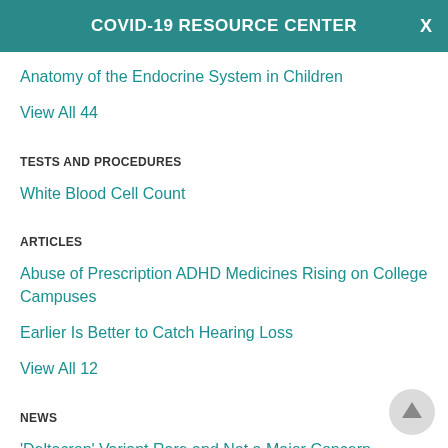COVID-19 RESOURCE CENTER
Anatomy of the Endocrine System in Children
View All 44
TESTS AND PROCEDURES
White Blood Cell Count
ARTICLES
Abuse of Prescription ADHD Medicines Rising on College Campuses
Earlier Is Better to Catch Hearing Loss
View All 12
NEWS
'Deltacron' Variant Rare and Not a Major Concern
1 Dead, 27 Hospitalized in U.S. Salmonella Outbreak